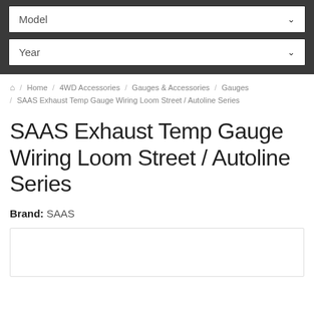[Figure (screenshot): Dark grey navigation bar with two dropdown selectors labeled 'Model' and 'Year' with chevron icons]
Home / 4WD Accessories / Gauges & Accessories / Gauges / SAAS Exhaust Temp Gauge Wiring Loom Street / Autoline Series
SAAS Exhaust Temp Gauge Wiring Loom Street / Autoline Series
Brand: SAAS
[Figure (other): Empty white image box with light border, product image placeholder]